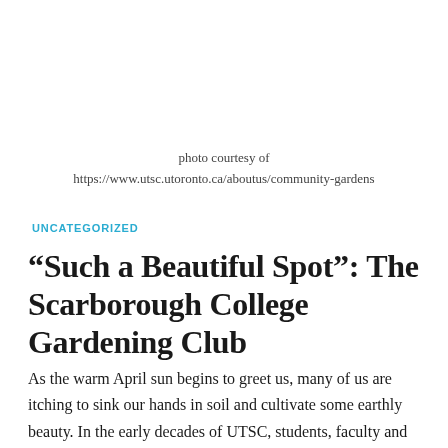photo courtesy of
https://www.utsc.utoronto.ca/aboutus/community-gardens
UNCATEGORIZED
“Such a Beautiful Spot”: The Scarborough College Gardening Club
As the warm April sun begins to greet us, many of us are itching to sink our hands in soil and cultivate some earthly beauty. In the early decades of UTSC, students, faculty and staff were eager to do just that – and signed up for the